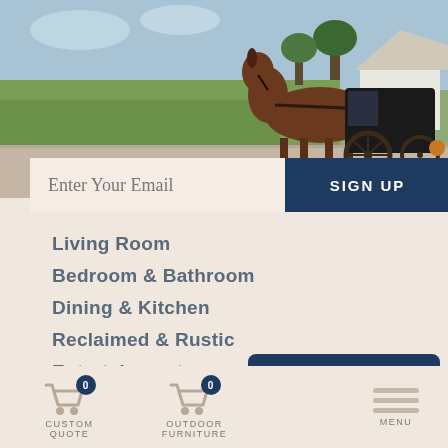[Figure (photo): Horse-drawn Amish buggy on a rural road with green fields and a white farmhouse in the background]
Enter Your Email
SIGN UP
Living Room
Bedroom & Bathroom
Dining & Kitchen
Reclaimed & Rustic
Entertainment
Workspace
How to Shop Our Website +
CUSTOM QUOTE
OUTDOOR FURNITURE
MENU